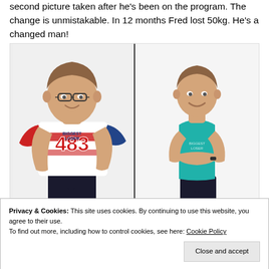second picture taken after he's been on the program. The change is unmistakable. In 12 months Fred lost 50kg. He's a changed man!
[Figure (photo): Before and after comparison photo of Fred. Left side shows a heavy-set man wearing a sports jersey with number 483 in red. Right side shows the same man much slimmer wearing a teal sleeveless shirt and black shorts, arms crossed. A vertical divider line separates the two images.]
Privacy & Cookies: This site uses cookies. By continuing to use this website, you agree to their use.
To find out more, including how to control cookies, see here: Cookie Policy
Close and accept